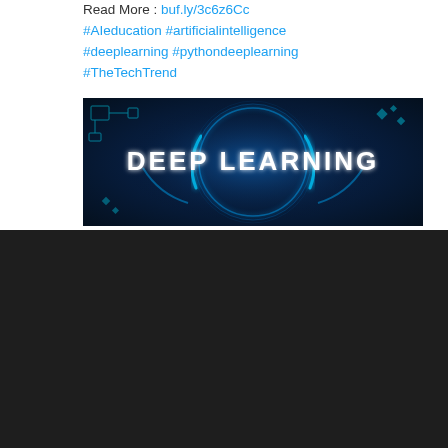Read More : buf.ly/3c6z6Cc #AIeducation #artificialintelligence #deeplearning #pythondeeplearning #TheTechTrend
[Figure (photo): Dark blue promotional banner with glowing circular tech design and text 'DEEP LEARNING' in white block letters]
[Figure (logo): TechTrend logo with geometric T icon in teal and dark blue, with TECH in white bold and TREND in teal]
[Figure (other): Circular scroll-to-top button with upward arrow, white outline on dark background]